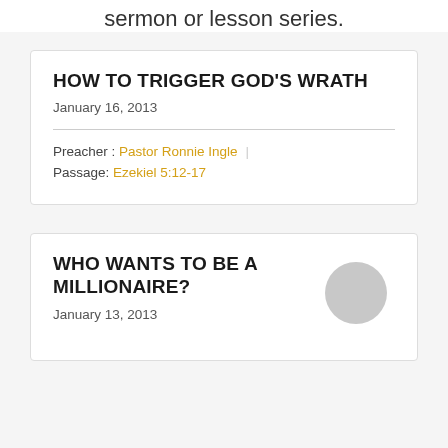sermon or lesson series.
HOW TO TRIGGER GOD'S WRATH
January 16, 2013
Preacher : Pastor Ronnie Ingle
Passage: Ezekiel 5:12-17
WHO WANTS TO BE A MILLIONAIRE?
January 13, 2013